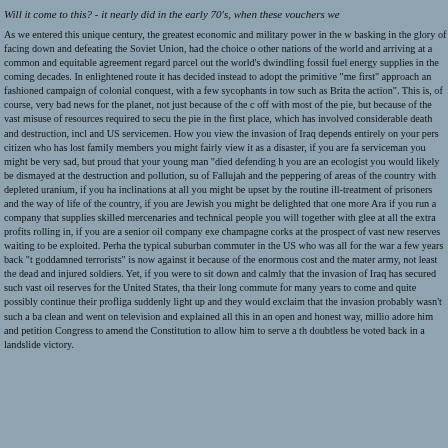Will it come to this? - it nearly did in the early 70's, when these vouchers we
As we entered this unique century, the greatest economic and military power in the w basking in the glory of facing down and defeating the Soviet Union, had the choice o other nations of the world and arriving at a common and equitable agreement regard parcel out the world's dwindling fossil fuel energy supplies in the coming decades. In enlightened route it has decided instead to adopt the primitive "me first" approach an fashioned campaign of colonial conquest, with a few sycophants in tow such as Brita the action". This is, of course, very bad news for the planet, not just because of the c off with most of the pie, but because of the vast misuse of resources required to secu the pie in the first place, which has involved considerable death and destruction, incl and US servicemen. How you view the invasion of Iraq depends entirely on your pers citizen who has lost family members you might fairly view it as a disaster, if you are fa serviceman you might be very sad, but proud that your young man "died defending h you are an ecologist you would likely be dismayed at the destruction and pollution, su of Fallujah and the peppering of areas of the country with depleted uranium, if you ha inclinations at all you might be upset by the routine ill-treatment of prisoners and the way of life of the country, if you are Jewish you might be delighted that one more Ara if you run a company that supplies skilled mercenaries and technical people you will together with glee at all the extra profits rolling in, if you are a senior oil company exe champagne corks at the prospect of vast new reserves waiting to be exploited. Perha the typical suburban commuter in the US who was all for the war a few years back "t goddamned terrorists" is now against it because of the enormous cost and the mater army, not least the dead and injured soldiers. Yet, if you were to sit down and calmly that the invasion of Iraq has secured such vast oil reserves for the United States, tha their long commute for many years to come and quite possibly continue their profliga suddenly light up and they would exclaim that the invasion probably wasn't such a ba clean and went on television and explained all this in an open and honest way, millio adore him and petition Congress to amend the Constitution to allow him to serve a th doubtless be voted back in a landslide victory.